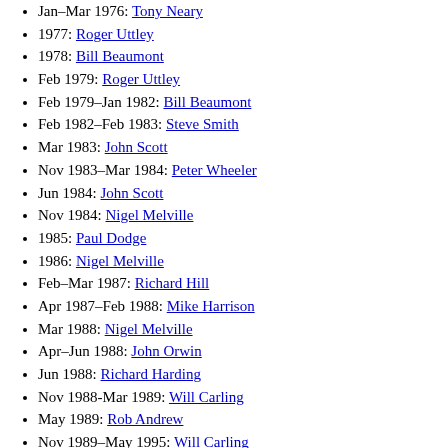Jan–Mar 1976: Tony Neary
1977: Roger Uttley
1978: Bill Beaumont
Feb 1979: Roger Uttley
Feb 1979–Jan 1982: Bill Beaumont
Feb 1982–Feb 1983: Steve Smith
Mar 1983: John Scott
Nov 1983–Mar 1984: Peter Wheeler
Jun 1984: John Scott
Nov 1984: Nigel Melville
1985: Paul Dodge
1986: Nigel Melville
Feb–Mar 1987: Richard Hill
Apr 1987–Feb 1988: Mike Harrison
Mar 1988: Nigel Melville
Apr–Jun 1988: John Orwin
Jun 1988: Richard Harding
Nov 1988-Mar 1989: Will Carling
May 1989: Rob Andrew
Nov 1989–May 1995: Will Carling
May 1995: Rob Andrew
Jun 1995: Will Carling
Nov 1995-Mar 1996: Will Carling
Nov 1996: Phil de Glanville
Dec 1996: Jason Leonard